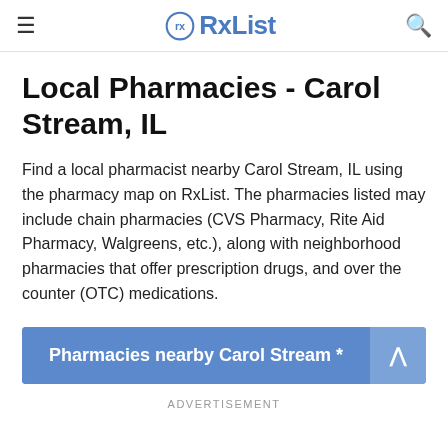RxList
Local Pharmacies - Carol Stream, IL
Find a local pharmacist nearby Carol Stream, IL using the pharmacy map on RxList. The pharmacies listed may include chain pharmacies (CVS Pharmacy, Rite Aid Pharmacy, Walgreens, etc.), along with neighborhood pharmacies that offer prescription drugs, and over the counter (OTC) medications.
Pharmacies nearby Carol Stream *
ADVERTISEMENT